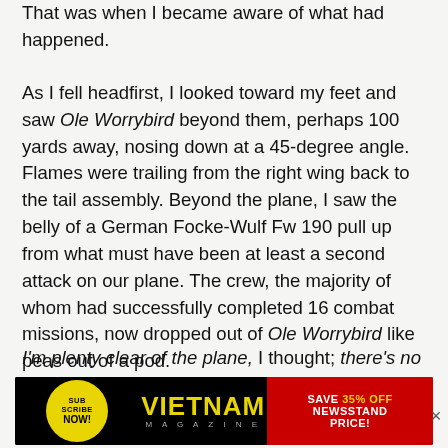That was when I became aware of what had happened.
As I fell headfirst, I looked toward my feet and saw Ole Worrybird beyond them, perhaps 100 yards away, nosing down at a 45-degree angle. Flames were trailing from the right wing back to the tail assembly. Beyond the plane, I saw the belly of a German Focke-Wulf Fw 190 pull up from what must have been at least a second attack on our plane. The crew, the majority of whom had successfully completed 16 combat missions, now dropped out of Ole Worrybird like peas out of a pod.
I'm plenty clear of the plane, I thought; there's no reason to count to 10 like they'd taught us in
[Figure (other): Vietnam Magazine subscription advertisement banner with yellow 'SUBSCRIBE NOW!' circle on black background, 'VIETNAM MAGAZINE' logo in yellow, and red panel with 'SAVE 35% OFF NEWSSTAND PRICE!' text]